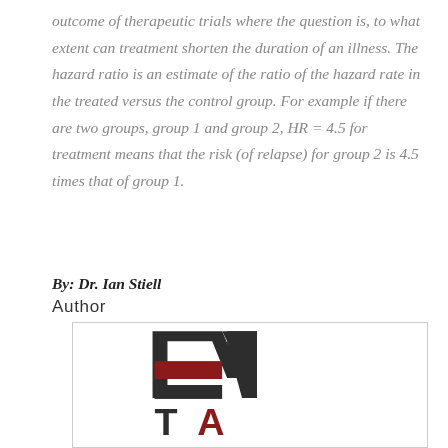outcome of therapeutic trials where the question is, to what extent can treatment shorten the duration of an illness. The hazard ratio is an estimate of the ratio of the hazard rate in the treated versus the control group. For example if there are two groups, group 1 and group 2, HR = 4.5 for treatment means that the risk (of relapse) for group 2 is 4.5 times that of group 1.
By: Dr. Ian Stiell
Author
[Figure (logo): TA logo with stylized letter forms: dark angular chevron/arch shape above, red rectangle bar, dark rectangle bar, and bold 'T A' text in dark and red colors below. Partial orange/gold text visible at bottom.]